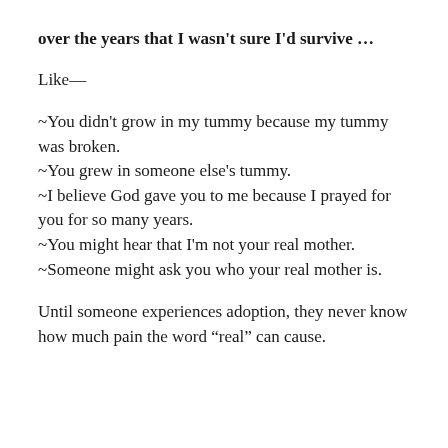over the years that I wasn't sure I'd survive …
Like—
~You didn't grow in my tummy because my tummy was broken.
~You grew in someone else's tummy.
~I believe God gave you to me because I prayed for you for so many years.
~You might hear that I'm not your real mother.
~Someone might ask you who your real mother is.
Until someone experiences adoption, they never know how much pain the word “real” can cause.